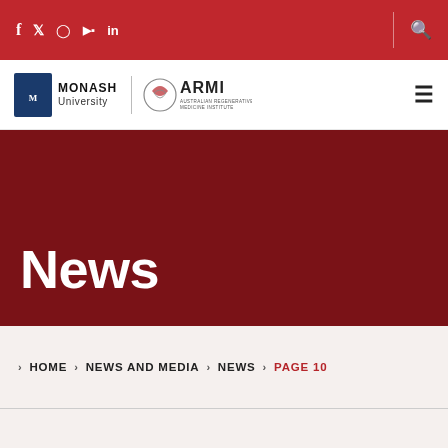Social media icons: f, Twitter, Instagram, YouTube, LinkedIn | Search icon
[Figure (logo): Monash University and ARMI (Australian Regenerative Medicine Institute) logos with hamburger menu icon]
News
› HOME › NEWS AND MEDIA › NEWS › PAGE 10